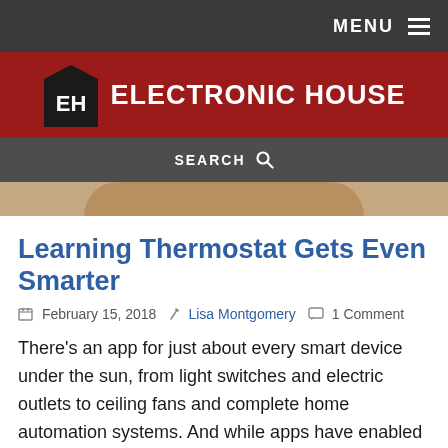MENU
[Figure (logo): Electronic House logo: EH initials in a house-shaped icon next to 'ELECTRONIC HOUSE' text, on a dark red background]
SEARCH
Learning Thermostat Gets Even Smarter
February 15, 2018  Lisa Montgomery  1 Comment
There’s an app for just about every smart device under the sun, from light switches and electric outlets to ceiling fans and complete home automation systems. And while apps have enabled us to more conveniently manage our homes, managing the ever-